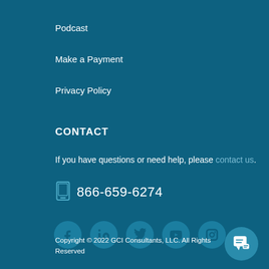Podcast
Make a Payment
Privacy Policy
CONTACT
If you have questions or need help, please contact us.
866-659-6274
[Figure (other): Social media icons: Facebook, LinkedIn, Twitter, YouTube, Instagram]
Copyright © 2022 GCI Consultants, LLC. All Rights Reserved